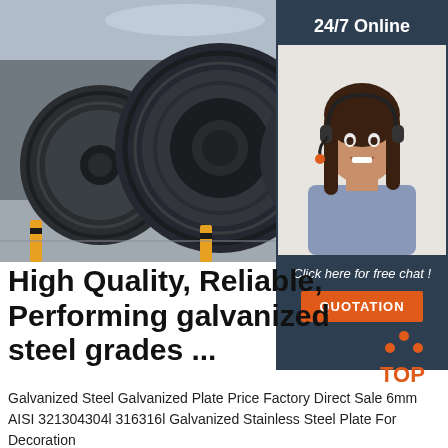[Figure (photo): Industrial steel coil rolls stacked in a factory warehouse, dark metallic finish]
[Figure (photo): 24/7 Online customer service agent - woman with headset smiling, sidebar panel on dark navy background with 'Click here for free chat!' and orange QUOTATION button]
High Quality, Reliable, Performing galvanized steel grades ...
Galvanized Steel Galvanized Plate Price Factory Direct Sale 6mm AISI 321304304l 316316l Galvanized Stainless Steel Plate For Decoration
[Figure (logo): TOP logo with orange triangle dots above the word TOP in orange]